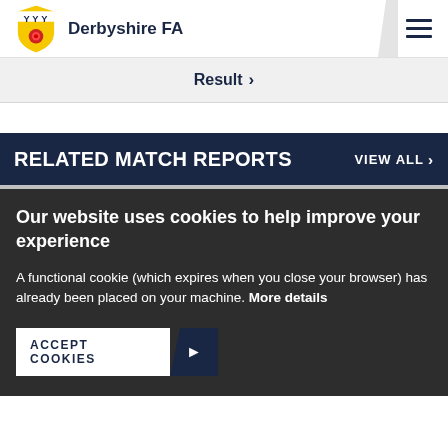Derbyshire FA
Result ›
RELATED MATCH REPORTS VIEW ALL ›
Our website uses cookies to help improve your experience
A functional cookie (which expires when you close your browser) has already been placed on your machine. More details
ACCEPT COOKIES